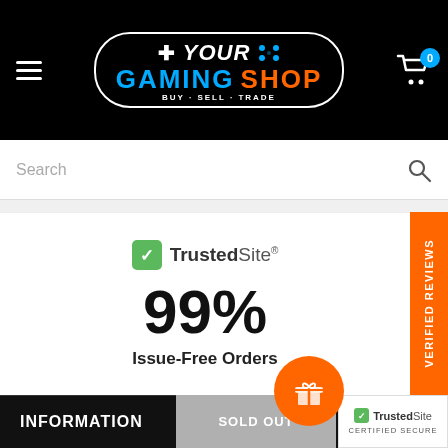[Figure (logo): Your Gaming Shop logo with BUY-SELL-TRADE tagline on black header bar]
Search
[Figure (infographic): TrustedSite badge showing 99% Issue-Free Orders]
INFORMATION
[Figure (logo): TrustedSite CERTIFIED SECURE badge at bottom right]
SOLD OUT